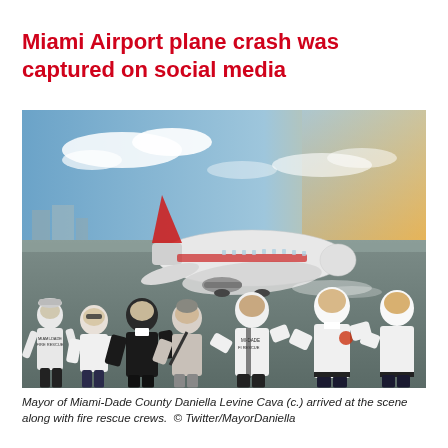Miami Airport plane crash was captured on social media
[Figure (photo): Miami-Dade Fire Rescue personnel and Mayor Daniella Levine Cava standing on airport tarmac in front of a crashed airplane, viewed from behind. Personnel are wearing white t-shirts labeled MIAMI-DADE FIRE RESCUE. The sky is partly cloudy with warm golden light. A commercial aircraft is visible in the background on the runway.]
Mayor of Miami-Dade County Daniella Levine Cava (c.) arrived at the scene along with fire rescue crews.  © Twitter/MayorDaniella